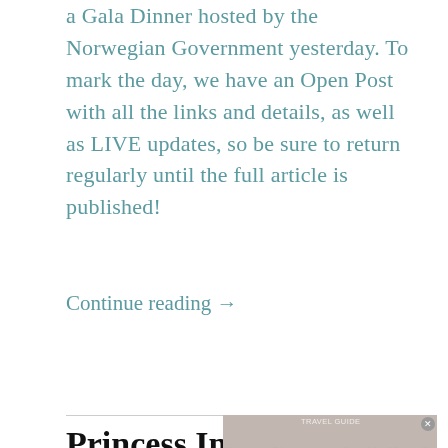a Gala Dinner hosted by the Norwegian Government yesterday. To mark the day, we have an Open Post with all the links and details, as well as LIVE updates, so be sure to return regularly until the full article is published!
Continue reading →
Princess Ingrid Alexandra's
[Figure (screenshot): Video player overlay showing 'No compatible source was found for this media.' with a close button (x) and a travel advertisement background showing '50% ON FERRIES' text in red.]